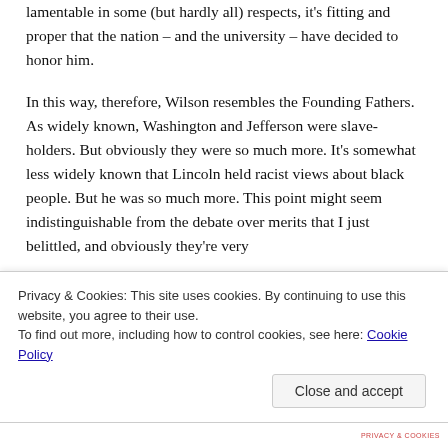today. And because this record was at worst lamentable in some (but hardly all) respects, it's fitting and proper that the nation – and the university – have decided to honor him.
In this way, therefore, Wilson resembles the Founding Fathers. As widely known, Washington and Jefferson were slave-holders. But obviously they were so much more. It's somewhat less widely known that Lincoln held racist views about black people. But he was so much more. This point might seem indistinguishable from the debate over merits that I just belittled, and obviously they're very
Privacy & Cookies: This site uses cookies. By continuing to use this website, you agree to their use.
To find out more, including how to control cookies, see here: Cookie Policy
Close and accept